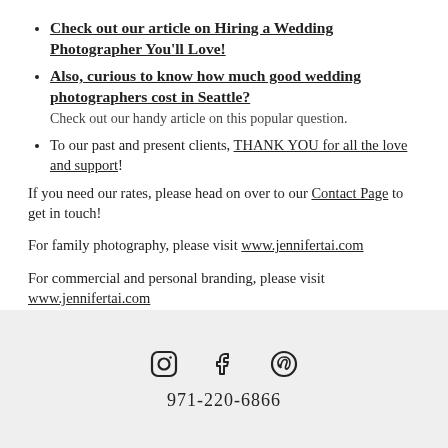Check out our article on Hiring a Wedding Photographer You'll Love!
Also, curious to know how much good wedding photographers cost in Seattle? Check out our handy article on this popular question.
To our past and present clients, THANK YOU for all the love and support!
If you need our rates, please head on over to our Contact Page to get in touch!
For family photography, please visit www.jennifertai.com
For commercial and personal branding, please visit www.jennifertai.com
971-220-6866